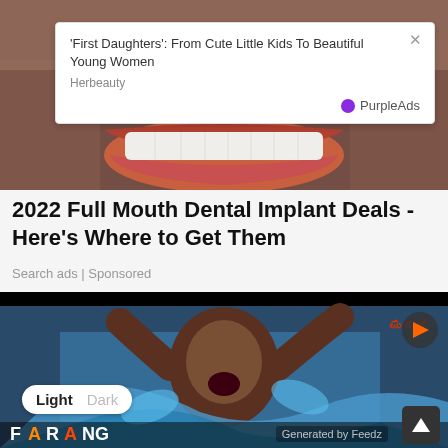[Figure (photo): Close-up photo of a person's smile showing white teeth and beard stubble, with an ad popup overlay showing 'First Daughters': From Cute Little Kids To Beautiful Young Women by Herbeauty / PurpleAds]
2022 Full Mouth Dental Implant Deals - Here's Where to Get Them
Search ads | Sponsored
[Figure (screenshot): Video thumbnail showing a woman with raised hands, mouth open in surprise, wearing a blue patterned outfit. Foreign text overlay visible. Light/Dark mode toggle at bottom.]